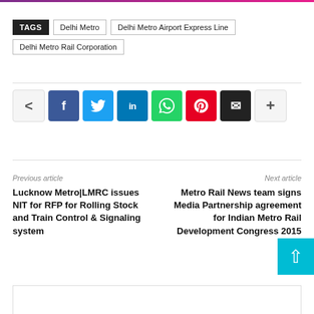TAGS  Delhi Metro  Delhi Metro Airport Express Line  Delhi Metro Rail Corporation
[Figure (infographic): Social share buttons: share icon, Facebook, Twitter, LinkedIn, WhatsApp, Pinterest, Email, More (+)]
Previous article
Lucknow Metro|LMRC issues NIT for RFP for Rolling Stock and Train Control & Signaling system
Next article
Metro Rail News team signs Media Partnership agreement for Indian Metro Rail Development Congress 2015